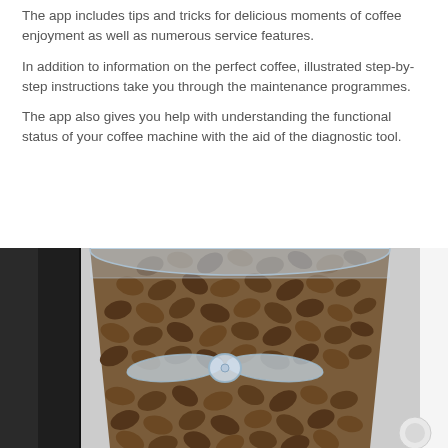The app includes tips and tricks for delicious moments of coffee enjoyment as well as numerous service features.
In addition to information on the perfect coffee, illustrated step-by-step instructions take you through the maintenance programmes.
The app also gives you help with understanding the functional status of your coffee machine with the aid of the diagnostic tool.
[Figure (photo): Close-up photograph of a coffee machine bean hopper filled with roasted coffee beans, with a transparent lid open, showing the dark metallic machine body and bean chamber interior.]